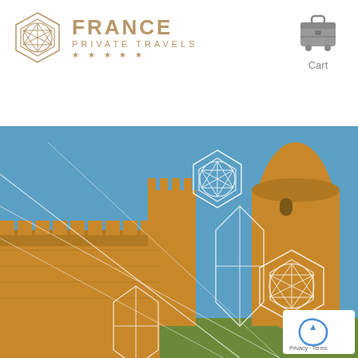[Figure (logo): France Private Travels logo - geometric hexagon/icosahedron symbol in tan/gold color with brand name]
[Figure (illustration): Cart/shopping bag icon in gray]
Cart
[Figure (photo): Photo of a medieval French castle (Carcassonne) illuminated in golden light against a blue sky, with white geometric line overlay designs]
Privacy · Terms